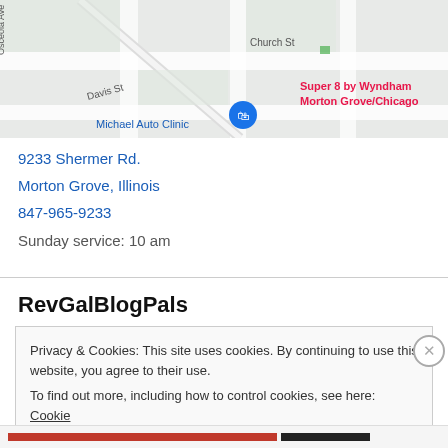[Figure (map): Google Maps screenshot showing Morton Grove, Illinois area with streets including Church St, Davis St, Osceola Ave. Labels visible: Super 8 by Wyndham Morton Grove/Chicago (in red/pink), Michael Auto Clinic (in blue), and a shopping bag icon marker.]
9233 Shermer Rd.
Morton Grove, Illinois
847-965-9233
Sunday service: 10 am
RevGalBlogPals
Privacy & Cookies: This site uses cookies. By continuing to use this website, you agree to their use.
To find out more, including how to control cookies, see here: Cookie Policy
Close and accept